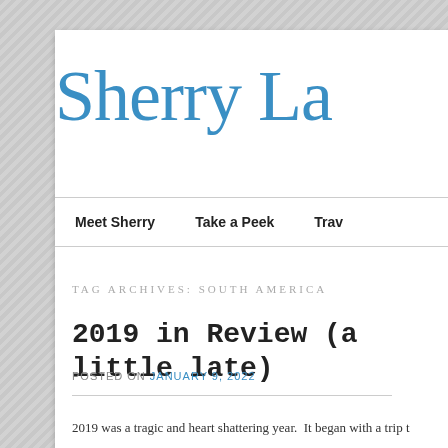Sherry La
Meet Sherry   Take a Peek   Trav
TAG ARCHIVES: SOUTH AMERICA
2019 in Review (a little late)
POSTED ON JANUARY 9, 2022
2019 was a tragic and heart shattering year.  It began with a trip t